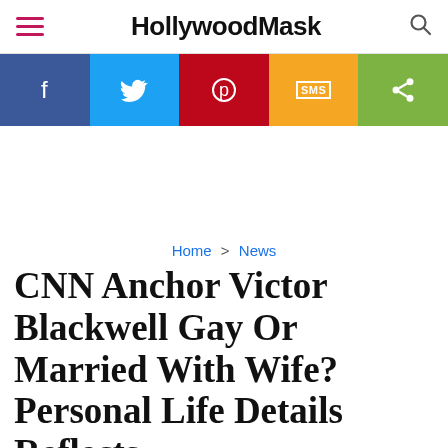HollywoodMask
[Figure (infographic): Social sharing bar with Facebook, Twitter, Pinterest, SMS, and Share buttons]
Home > News
CNN Anchor Victor Blackwell Gay Or Married With Wife? Personal Life Details Reflects